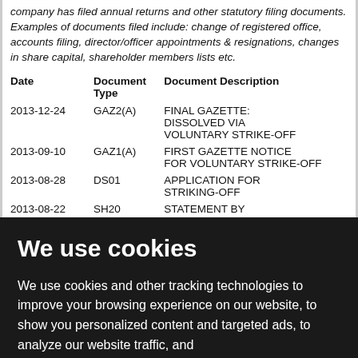company has filed annual returns and other statutory filing documents. Examples of documents filed include: change of registered office, accounts filing, director/officer appointments & resignations, changes in share capital, shareholder members lists etc.
| Date | Document Type | Document Description |
| --- | --- | --- |
| 2013-12-24 | GAZ2(A) | FINAL GAZETTE: DISSOLVED VIA VOLUNTARY STRIKE-OFF |
| 2013-09-10 | GAZ1(A) | FIRST GAZETTE NOTICE FOR VOLUNTARY STRIKE-OFF |
| 2013-08-28 | DS01 | APPLICATION FOR STRIKING-OFF |
| 2013-08-22 | SH20 | STATEMENT BY |
We use cookies
We use cookies and other tracking technologies to improve your browsing experience on our website, to show you personalized content and targeted ads, to analyze our website traffic, and